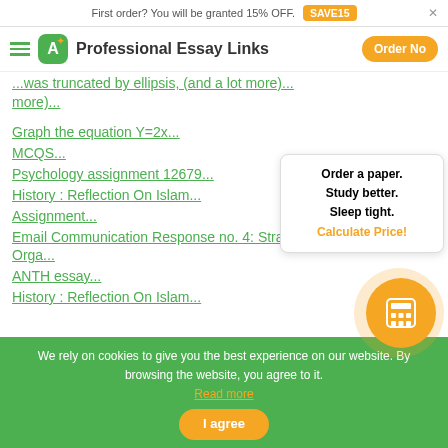First order? You will be granted 15% OFF. SAVE15
Professional Essay Links  Order Now
(this was truncated by ellipsis, see more)...
Graph the equation Y=2x...
MCQS...
Psychology assignment 12679...
History : Reflection On Islam...
Assignment...
Email Communication Response no. 4: Strategic Orga...
ANTH essay...
History : Reflection On Islam...
Order a paper. Study better. Sleep tight. Calculate Price!
We rely on cookies to give you the best experience on our website. By browsing the website, you agree to it. Read more
I agree